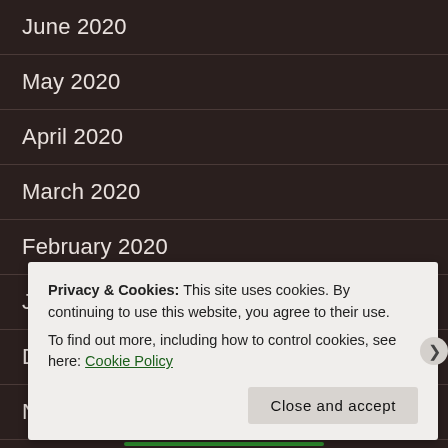June 2020
May 2020
April 2020
March 2020
February 2020
January 2020
December 2019
November 2019
October 2019
Privacy & Cookies: This site uses cookies. By continuing to use this website, you agree to their use.
To find out more, including how to control cookies, see here: Cookie Policy
Close and accept